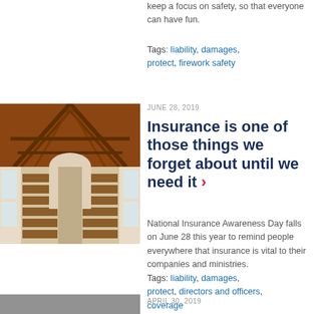keep a focus on safety, so that everyone can have fun.
Tags: liability, damages, protect, firework safety
[Figure (photo): Interior of a church with wooden pews, arched ceiling with exposed wood beams, and an altar area at the far end]
JUNE 28, 2019
Insurance is one of those things we forget about until we need it
National Insurance Awareness Day falls on June 28 this year to remind people everywhere that insurance is vital to their companies and ministries.
Tags: liability, damages, protect, directors and officers, coverage
[Figure (photo): Partial view of another article image at the bottom]
APRIL 30, 2019